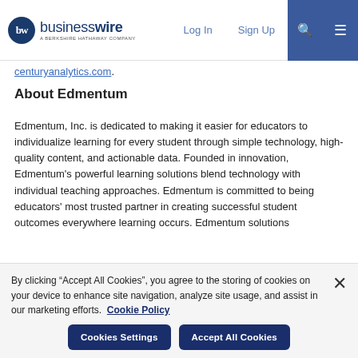businesswire - A Berkshire Hathaway Company | Log In | Sign Up
centuryanalytics.com.
About Edmentum
Edmentum, Inc. is dedicated to making it easier for educators to individualize learning for every student through simple technology, high-quality content, and actionable data. Founded in innovation, Edmentum's powerful learning solutions blend technology with individual teaching approaches. Edmentum is committed to being educators' most trusted partner in creating successful student outcomes everywhere learning occurs. Edmentum solutions
By clicking “Accept All Cookies”, you agree to the storing of cookies on your device to enhance site navigation, analyze site usage, and assist in our marketing efforts. Cookie Policy
Cookies Settings | Accept All Cookies